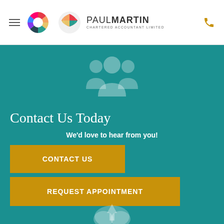Paul Martin Chartered Accountant Limited
[Figure (illustration): Group of three people icon in light teal color on teal background]
Contact Us Today
We'd love to hear from you!
CONTACT US
REQUEST APPOINTMENT
[Figure (illustration): Cloud/upload icon in light teal at the bottom of the page]